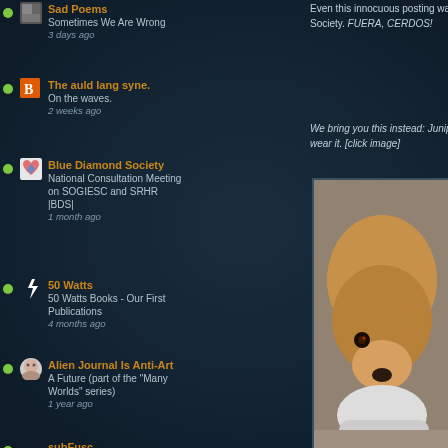Sad Poems - Sometimes We Are Wrong - 3 days ago
The auld lang syne. - On the waves. - 2 weeks ago
Blue Diamond Society - National Consultation Meeting on SOGIESC and SRHR |BDS| - 1 month ago
50 Watts - 50 Watts Books - Our First Publications - 4 months ago
Alien Journal Is Anti-Art - A Future (part of the "Many Worlds" series) - 1 year ago
subFusc - alvareztostado: manuel álvarezbravo: klin (1957) - 8 years ago
Trend Küpü - Kiz Kulesini Dunya Seviyor! - 8 years ago
Even this innocuous posting was targeted by the Gay Disco Bouncer Society. FUERA, CERDOS!
We bring you this instead: Juniper resp wear it. [click image]
[Figure (photo): Photo of a dog (appears to be a Corgi or similar breed) lying down, looking at camera, close-up shot]